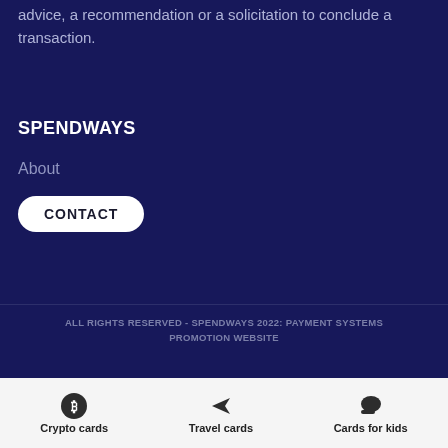advice, a recommendation or a solicitation to conclude a transaction.
SPENDWAYS
About
CONTACT
ALL RIGHTS RESERVED - SPENDWAYS 2022: PAYMENT SYSTEMS PROMOTION WEBSITE
Crypto cards
Travel cards
Cards for kids